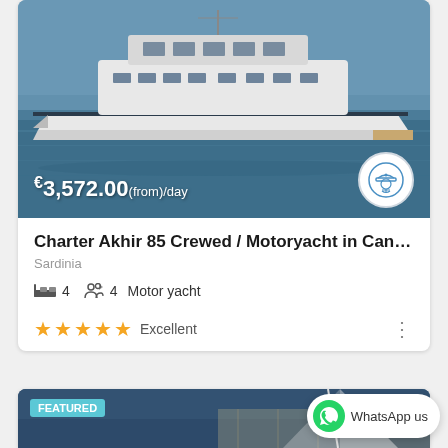[Figure (photo): Luxury motor yacht on calm blue water, aerial/side view]
€3,572.00(from)/day
Charter Akhir 85 Crewed / Motoryacht in Can…
Sardinia
4   4   Motor yacht
★★★★★ Excellent
[Figure (photo): Partial view of a sailing yacht deck, second listing card with FEATURED badge]
WhatsApp us
FEATURED